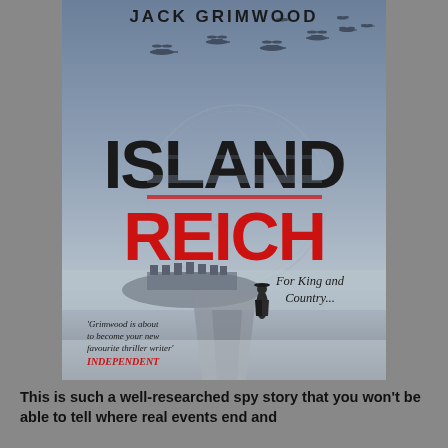[Figure (illustration): Book cover for 'Island Reich' by Jack Grimwood. Blue-grey toned cover with WWII bomber aircraft flying in formation at the top. Large bold black text reads 'ISLAND' and large bold red text reads 'REICH'. A faint circular stamp watermark in the background. Lone figure standing on a misty road with a coastal fortress/island in the background. Text on cover: 'For King and Country...' and a quote 'Grimwood is about to become your new favourite thriller writer' INDEPENDENT.]
This is such a well-researched spy story that you won't be able to tell where real events end and